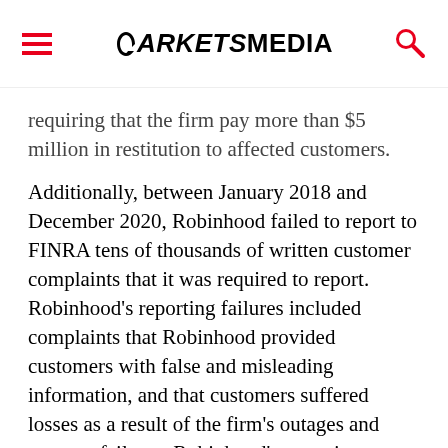MARKETSMEDIA
requiring that the firm pay more than $5 million in restitution to affected customers.
Additionally, between January 2018 and December 2020, Robinhood failed to report to FINRA tens of thousands of written customer complaints that it was required to report. Robinhood’s reporting failures included complaints that Robinhood provided customers with false and misleading information, and that customers suffered losses as a result of the firm’s outages and systems failures. Robinhood’s reporting failures were primarily the result of a firm-wide policy that exempted certain broad